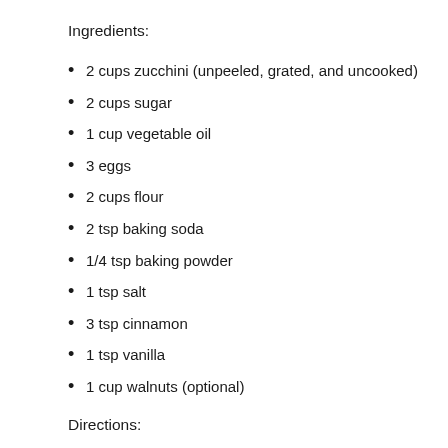Ingredients:
2 cups zucchini (unpeeled, grated, and uncooked)
2 cups sugar
1 cup vegetable oil
3 eggs
2 cups flour
2 tsp baking soda
1/4 tsp baking powder
1 tsp salt
3 tsp cinnamon
1 tsp vanilla
1 cup walnuts (optional)
Directions: